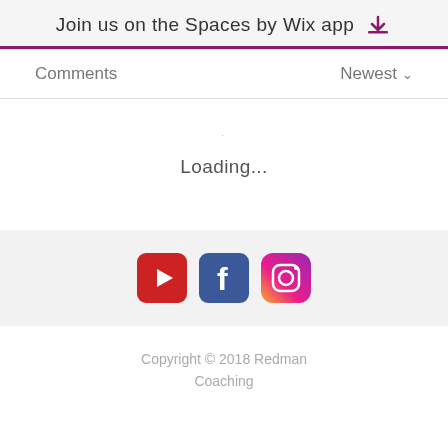Join us on the Spaces by Wix app
Comments
Newest
Loading...
[Figure (logo): Social media icons: YouTube, Facebook, Instagram]
Copyright © 2018 Redman Coaching